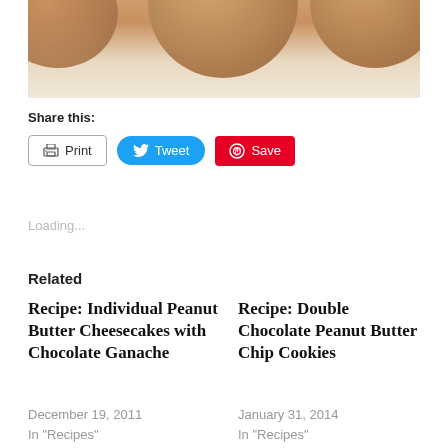[Figure (photo): Three peanut butter cookies with chocolate centers/tops on a light surface, cropped at top]
Share this:
Print  Tweet  Save
Loading...
Related
Recipe: Individual Peanut Butter Cheesecakes with Chocolate Ganache
December 19, 2011
In "Recipes"
Recipe: Double Chocolate Peanut Butter Chip Cookies
January 31, 2014
In "Recipes"